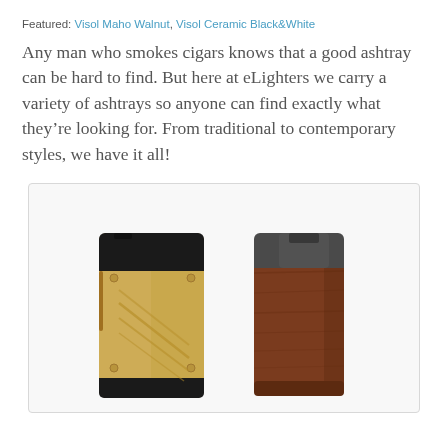Featured: Visol Maho Walnut, Visol Ceramic Black&White
Any man who smokes cigars knows that a good ashtray can be hard to find. But here at eLighters we carry a variety of ashtrays so anyone can find exactly what they're looking for. From traditional to contemporary styles, we have it all!
[Figure (photo): Two cigar lighters side by side: on the left, a gold-colored lighter with diagonal grooves and a black top (Visol Ceramic Black&White); on the right, a walnut wood lighter with a dark gunmetal top (Visol Maho Walnut), both displayed against a light gray background inside a bordered box.]